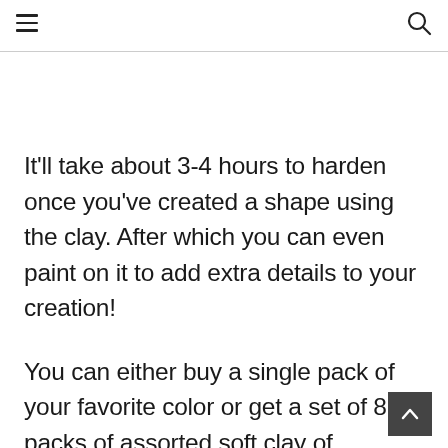≡  🔍
It'll take about 3-4 hours to harden once you've created a shape using the clay. After which you can even paint on it to add extra details to your creation!
You can either buy a single pack of your favorite color or get a set of 8 packs of assorted soft clay of different colors. Check